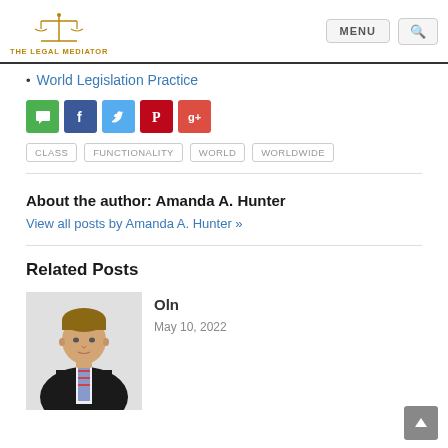THE LEGAL MEDIATOR — MENU / Search
World Legislation Practice
[Figure (infographic): Social share icons row: comment (green), Facebook (dark blue), Twitter (light blue), Pinterest (red), Google+ (orange-red)]
CLASS   FUNCTIONALITY   WORLD   WORLDWIDE
About the author: Amanda A. Hunter
View all posts by Amanda A. Hunter »
Related Posts
[Figure (photo): Photo of a man in a dark suit with a striped tie, professional headshot]
Oln
May 10, 2022